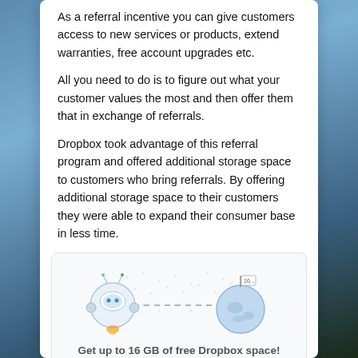As a referral incentive you can give customers access to new services or products, extend warranties, free account upgrades etc.
All you need to do is to figure out what your customer values the most and then offer them that in exchange of referrals.
Dropbox took advantage of this referral program and offered additional storage space to customers who bring referrals. By offering additional storage space to their customers they were able to expand their consumer base in less time.
[Figure (illustration): Dropbox referral illustration showing a spaceship/astronaut figure on the left connected by a dashed line to a planet with a flag on the right. Below reads 'Get up to 16 GB of free Dropbox space!' with subtext about inviting friends.]
Get up to 16 GB of free Dropbox space!
Invite your friends to join Dropbox, and for each one who installs Dropbox we'll give you both